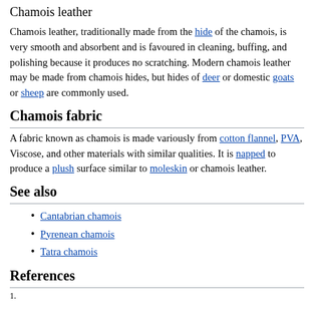Chamois leather
Chamois leather, traditionally made from the hide of the chamois, is very smooth and absorbent and is favoured in cleaning, buffing, and polishing because it produces no scratching. Modern chamois leather may be made from chamois hides, but hides of deer or domestic goats or sheep are commonly used.
Chamois fabric
A fabric known as chamois is made variously from cotton flannel, PVA, Viscose, and other materials with similar qualities. It is napped to produce a plush surface similar to moleskin or chamois leather.
See also
Cantabrian chamois
Pyrenean chamois
Tatra chamois
References
1. ...